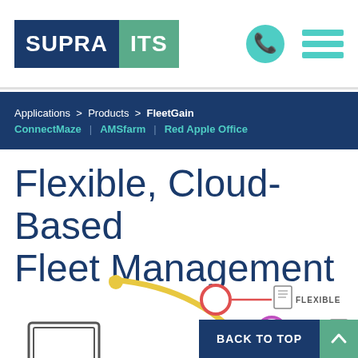SUPRA ITS
Applications > Products > FleetGain
ConnectMaze | AMSfarm | Red Apple Office
Flexible, Cloud-Based Fleet Management
[Figure (infographic): Partial infographic showing a yellow curved line with nodes: one with a red circle labeled FLEXIBLE and one with a purple circle labeled CLOUD-BASED, plus an icon of a laptop/screen at the bottom left.]